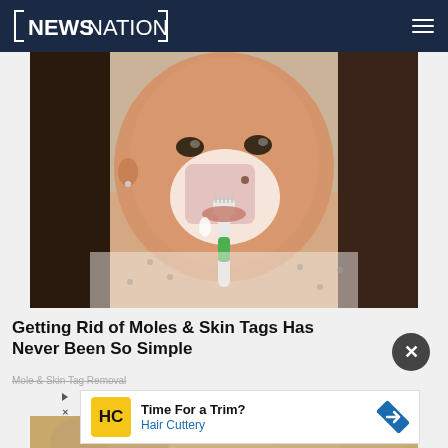NEWSNATION
[Figure (photo): Woman applying white paste to her nose/face area using a green and white toothbrush. She has long dark hair and is wearing a patterned shirt. Looking into the camera.]
Getting Rid of Moles & Skin Tags Has Never Been So Simple
Mole & Skin Tag Removal
[Figure (infographic): Advertisement banner: Hair Cuttery - Time For a Trim? with yellow HC logo and blue diamond arrow icon.]
[Figure (photo): Partial bottom image, appears to show a food or surface item.]